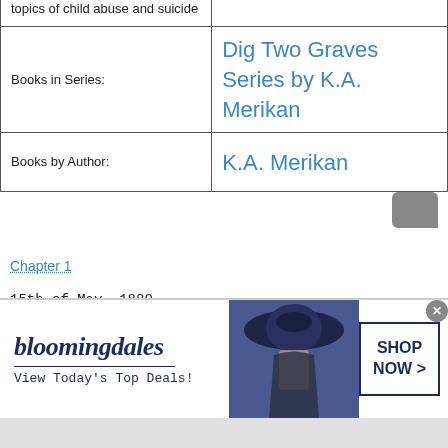|  |  |
| --- | --- |
| topics of child abuse and suicide |  |
| Books in Series: | Dig Two Graves Series by K.A. Merikan |
| Books by Author: | K.A. Merikan |
Chapter 1
15th of May, 1880
Green River Valley, Colorado
[Figure (screenshot): Bloomingdale's advertisement banner: 'bloomingdales View Today's Top Deals!' with woman in wide-brim hat and 'SHOP NOW >' button]